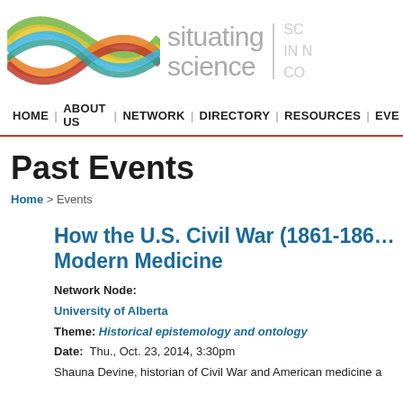[Figure (logo): Situating Science logo with colorful intertwined wave ribbons and text 'situating science' with tagline partial text 'SC IN N CO']
HOME | ABOUT US | NETWORK | DIRECTORY | RESOURCES | EVE
Past Events
Home > Events
How the U.S. Civil War (1861-186... Modern Medicine
Network Node: University of Alberta
Theme: Historical epistemology and ontology
Date: Thu., Oct. 23, 2014, 3:30pm
Shauna Devine, historian of Civil War and American medicine a